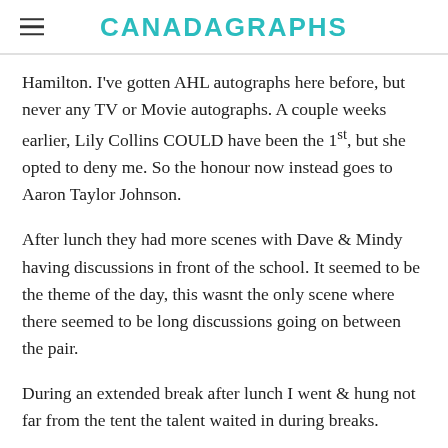CANADAGRAPHS
Hamilton. I've gotten AHL autographs here before, but never any TV or Movie autographs. A couple weeks earlier, Lily Collins COULD have been the 1st, but she opted to deny me. So the honour now instead goes to Aaron Taylor Johnson.
After lunch they had more scenes with Dave & Mindy having discussions in front of the school. It seemed to be the theme of the day, this wasnt the only scene where there seemed to be long discussions going on between the pair.
During an extended break after lunch I went & hung not far from the tent the talent waited in during breaks.